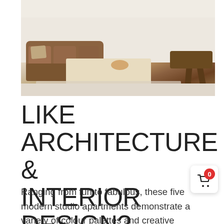[Figure (photo): Interior design photo showing a modern living room with brown leather sofa, stone/travertine coffee table, woven rug, and wooden chair on the right side.]
LIKE ARCHITECTURE & INTERIOR DESIGN? FOLLOW US...
Ranging from fun to fabulous, these five modern studio apartments demonstrate a variety of colour palettes and creative layouts to complement and maximise small spaces. Studio apartment design number one is a sophisticated white and brown tonal